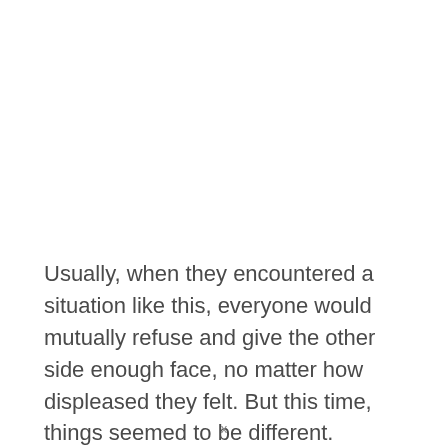Usually, when they encountered a situation like this, everyone would mutually refuse and give the other side enough face, no matter how displeased they felt. But this time, things seemed to be different.
x